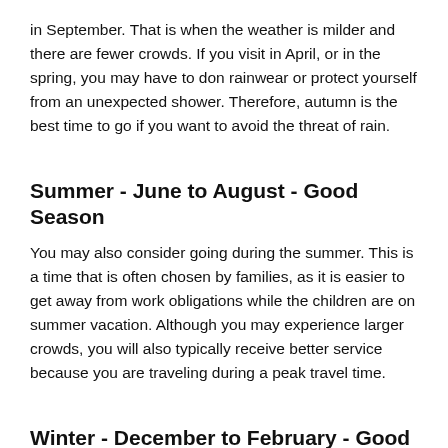in September. That is when the weather is milder and there are fewer crowds. If you visit in April, or in the spring, you may have to don rainwear or protect yourself from an unexpected shower. Therefore, autumn is the best time to go if you want to avoid the threat of rain.
Summer - June to August - Good Season
You may also consider going during the summer. This is a time that is often chosen by families, as it is easier to get away from work obligations while the children are on summer vacation. Although you may experience larger crowds, you will also typically receive better service because you are traveling during a peak travel time.
Winter - December to February - Good Season
Some tourists like to visit Luxembourg in November and